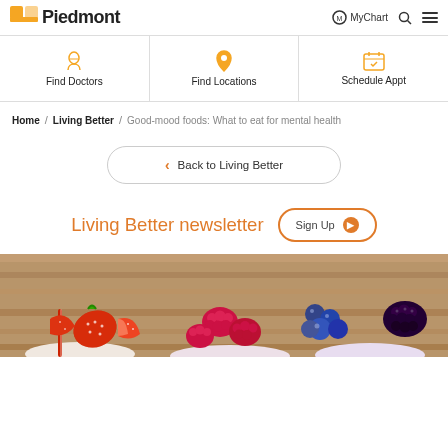Piedmont | MyChart | Search | Menu
Find Doctors | Find Locations | Schedule Appt
Home / Living Better / Good-mood foods: What to eat for mental health
Back to Living Better
Living Better newsletter  Sign Up
[Figure (photo): Top-down photo of colorful berries (strawberries, raspberries, blueberries, blackberries) in smoothie glasses on a wooden background]